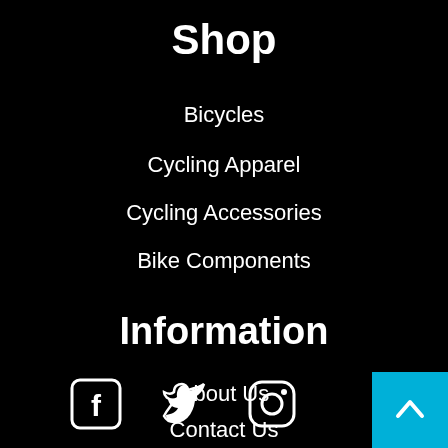Shop
Bicycles
Cycling Apparel
Cycling Accessories
Bike Components
Information
About Us
Contact Us
[Figure (infographic): Social media icons: Facebook, Twitter, Instagram, and a back-to-top button (cyan square with upward chevron)]